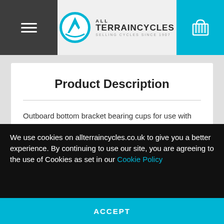[Figure (logo): All Terrain Cycles logo with circular mountain/cycle icon and text 'ALL TERRAINCYCLES SELLING CYCLES SINCE 1907']
Product Description
Outboard bottom bracket bearing cups for use with 105 FC-5700 and FC-5703 HollowTech II chainsets.
We use cookies on allterraincycles.co.uk to give you a better experience. By continuing to use our site, you are agreeing to the use of Cookies as set in our Cookie Policy
ACCEPT